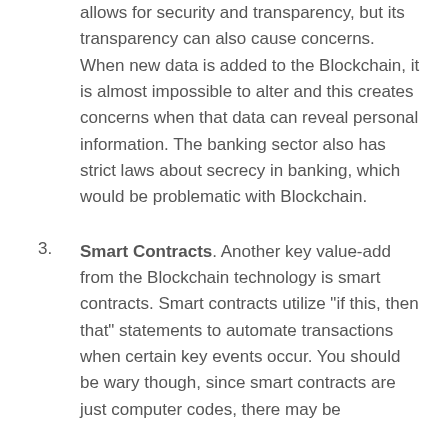allows for security and transparency, but its transparency can also cause concerns. When new data is added to the Blockchain, it is almost impossible to alter and this creates concerns when that data can reveal personal information. The banking sector also has strict laws about secrecy in banking, which would be problematic with Blockchain.
Smart Contracts. Another key value-add from the Blockchain technology is smart contracts. Smart contracts utilize “if this, then that” statements to automate transactions when certain key events occur. You should be wary though, since smart contracts are just computer codes, there may be